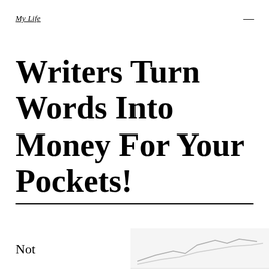My Life
Writers Turn Words Into Money For Your Pockets!
Not